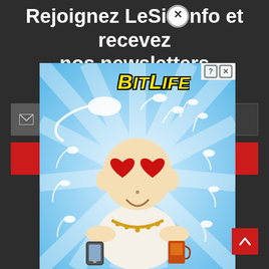Rejoignez LeSoir.Info et recevez nos newsletters
[Figure (screenshot): BitLife mobile game advertisement showing a bald cartoon baby/monk figure with heart-shaped red eyes, holding a smartphone and coffee cup, surrounded by sperm illustrations on a blue radial background with 'BitLife' in yellow text at the top]
Déc... ger,